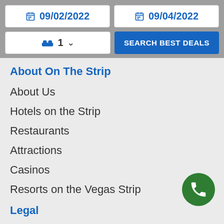09/02/2022   09/04/2022   1   SEARCH BEST DEALS
About On The Strip
About Us
Hotels on the Strip
Restaurants
Attractions
Casinos
Resorts on the Vegas Strip
Legal
Terms of Use